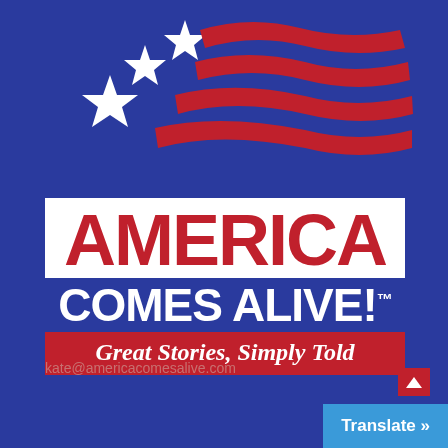[Figure (logo): America Comes Alive logo with stylized US flag (3 white stars and red wavy stripes on blue background), white box with red AMERICA text, blue COMES ALIVE! text on blue stripe, and red stripe with italic white tagline 'Great Stories, Simply Told']
kate@americacomesalive.com
Translate »